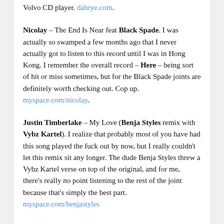Volvo CD player. dabrye.com.
Nicolay – The End Is Near feat Black Spade. I was actually so swamped a few months ago that I never actually got to listen to this record until I was in Hong Kong. I remember the overall record – Here – being sort of hit or miss sometimes, but for the Black Spade joints are definitely worth checking out. Cop up. myspace.com/nicolay.
Justin Timberlake – My Love (Benja Styles remix with Vybz Kartel). I realize that probably most of you have had this song played the fuck out by now, but I really couldn't let this remix sit any longer. The dude Benja Styles threw a Vybz Kartel verse on top of the original, and for me, there's really no point listening to the rest of the joint because that's simply the best part. myspace.com/benjastyles
Diamond D – An Untitled Percee P Joint
Jaylib – The Ruckus